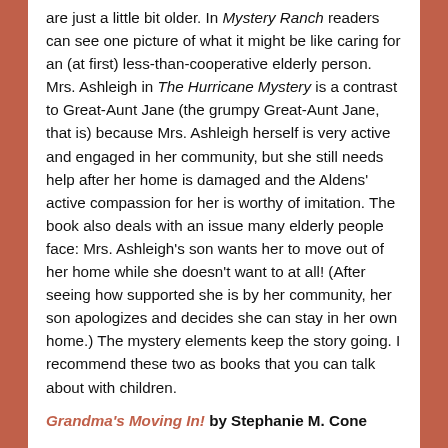are just a little bit older. In Mystery Ranch readers can see one picture of what it might be like caring for an (at first) less-than-cooperative elderly person. Mrs. Ashleigh in The Hurricane Mystery is a contrast to Great-Aunt Jane (the grumpy Great-Aunt Jane, that is) because Mrs. Ashleigh herself is very active and engaged in her community, but she still needs help after her home is damaged and the Aldens' active compassion for her is worthy of imitation. The book also deals with an issue many elderly people face: Mrs. Ashleigh's son wants her to move out of her home while she doesn't want to at all! (After seeing how supported she is by her community, her son apologizes and decides she can stay in her own home.) The mystery elements keep the story going. I recommend these two as books that you can talk about with children.
Grandma's Moving In! by Stephanie M. Cone